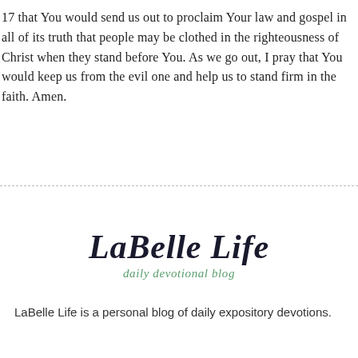17 that You would send us out to proclaim Your law and gospel in all of its truth that people may be clothed in the righteousness of Christ when they stand before You. As we go out, I pray that You would keep us from the evil one and help us to stand firm in the faith. Amen.
[Figure (logo): LaBelle Life daily devotional blog logo — stylized cursive text 'LaBelle Life' in dark ink with 'daily devotional blog' in green italic below]
LaBelle Life is a personal blog of daily expository devotions.